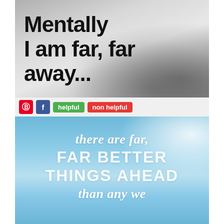[Figure (illustration): Black and white grunge textured image with bold black text reading: Mentally I am far, far away...]
[Figure (screenshot): Toolbar with Pinterest button (red P), Facebook button (blue f), green 'helpful' button, and red 'non helpful' button on a light grey background.]
[Figure (illustration): Sky blue background with white cloud in upper right, with white italic and bold text reading: there are far, FAR BETTER THINGS AHEAD than any we...]